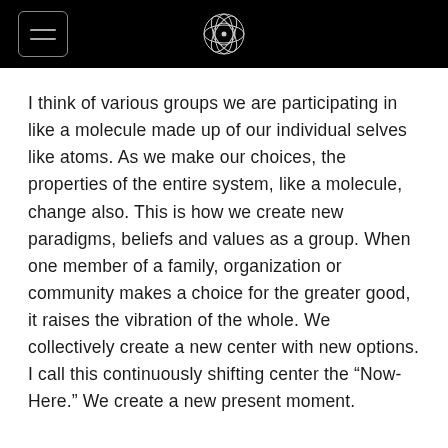I think of various groups we are participating in like a molecule made up of our individual selves like atoms. As we make our choices, the properties of the entire system, like a molecule, change also. This is how we create new paradigms, beliefs and values as a group. When one member of a family, organization or community makes a choice for the greater good, it raises the vibration of the whole. We collectively create a new center with new options. I call this continuously shifting center the “Now-Here.” We create a new present moment.